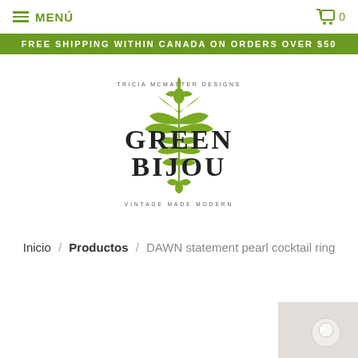MENÚ  🛒 0
FREE SHIPPING WITHIN CANADA ON ORDERS OVER $50
[Figure (logo): Green Bijou logo — Tricia McMaster Designs, vintage ornamental green and black design, text reads GREEN BIJOU, VINTAGE MADE MODERN]
Inicio / Productos / DAWN statement pearl cocktail ring
[Figure (photo): Partial product image of a pearl cocktail ring on light background, bottom right corner]